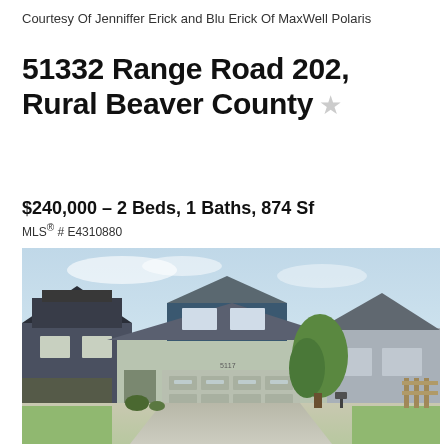Courtesy Of Jenniffer Erick and Blu Erick Of MaxWell Polaris
51332 Range Road 202, Rural Beaver County
$240,000 – 2 Beds, 1 Baths, 874 Sf
MLS® # E4310880
[Figure (photo): Exterior photo of a two-storey residential home with sage green siding, large double garage door, trees in front yard, neighboring houses visible on both sides, sunny day with blue sky.]